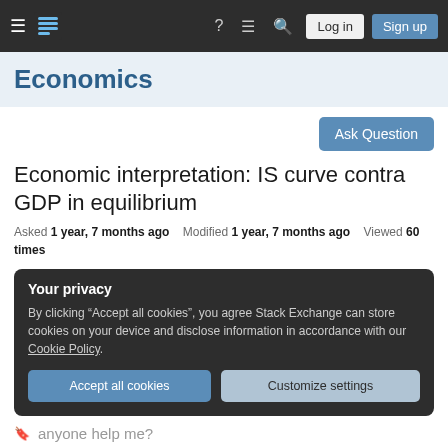Economics Stack Exchange navigation bar with hamburger menu, logo, help, chat, search icons, Log in and Sign up buttons
Economics
Ask Question
Economic interpretation: IS curve contra GDP in equilibrium
Asked 1 year, 7 months ago   Modified 1 year, 7 months ago   Viewed 60 times
Your privacy
By clicking “Accept all cookies”, you agree Stack Exchange can store cookies on your device and disclose information in accordance with our Cookie Policy.
Accept all cookies   Customize settings
anyone help me?